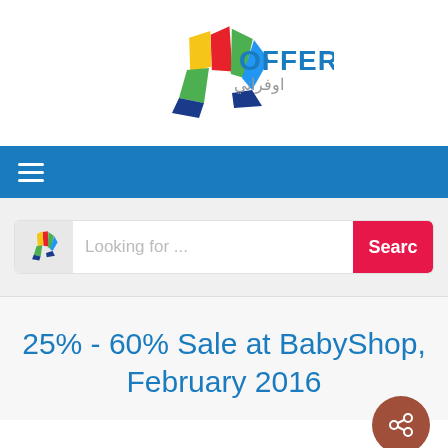[Figure (logo): Offeraty logo with colorful pinwheel/fan shape and text OFFERATY with Arabic text اوفراني]
[Figure (other): Blue navigation bar with hamburger menu icon (three horizontal white lines)]
[Figure (other): Search bar with Offeraty icon on left, placeholder text 'Looking for ...', and red Search button on right]
25% - 60% Sale at BabyShop, February 2016
[Figure (other): Brown/terracotta circular share button with share icon]